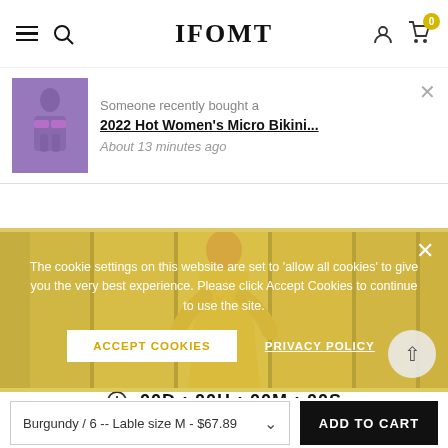IFOMT — navigation header with hamburger menu, search, logo, user icon, cart (0)
Someone recently bought a
2022 Hot Women's Micro Bikini...
About 13 minutes ago
[Figure (photo): Product page showing a woman in a yellow outfit against a warm-toned background, partially obscured by a cookie consent banner]
The cookie settings on this website are set to 'allow all cookies' to give you the very best experience. Please click Accept Cookies to continue to use the site.
ACCEPT COOKIES    PRIVACY POLICY
00D : 00H : 00M : 00S
Burgundy / 6 -- Lable size M - $67.89   ADD TO CART